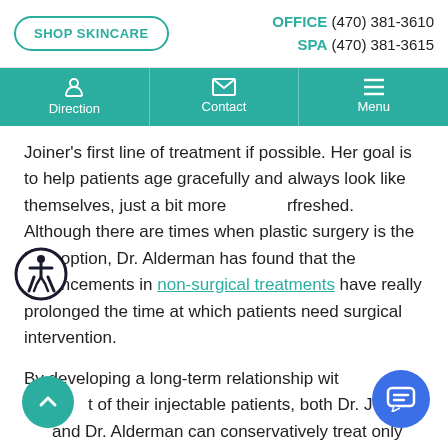SHOP SKINCARE | OFFICE (470) 381-3610 | SPA (470) 381-3615
Direction | Contact | Menu
Joiner’s first line of treatment if possible. Her goal is to help patients age gracefully and always look like themselves, just a bit more refreshed. Although there are times when plastic surgery is the best option, Dr. Alderman has found that the advancements in non-surgical treatments have really prolonged the time at which patients need surgical intervention.
By developing a long-term relationship with most of their injectable patients, both Dr. Joiner and Dr. Alderman can conservatively treat only